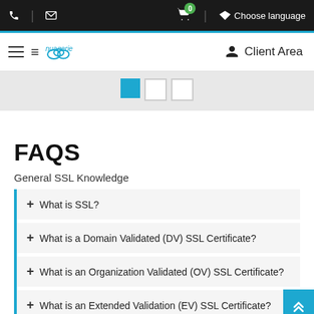nuagerie | Client Area | Choose language
[Figure (screenshot): Navigation slider dots with one active blue square and two empty squares]
FAQS
General SSL Knowledge
+ What is SSL?
+ What is a Domain Validated (DV) SSL Certificate?
+ What is an Organization Validated (OV) SSL Certificate?
+ What is an Extended Validation (EV) SSL Certificate?